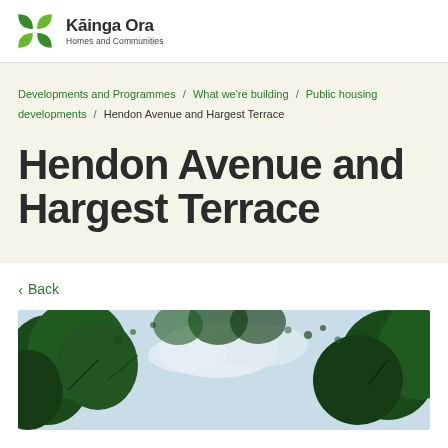Kāinga Ora – Homes and Communities
Developments and Programmes / What we're building / Public housing developments / Hendon Avenue and Hargest Terrace
Hendon Avenue and Hargest Terrace
< Back
[Figure (photo): Outdoor photo showing tree branches with green leaves against a light blue sky with clouds]